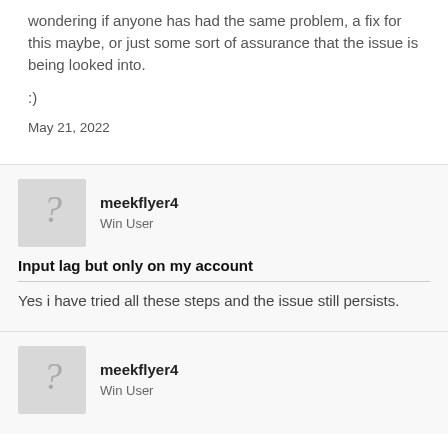wondering if anyone has had the same problem, a fix for this maybe, or just some sort of assurance that the issue is being looked into.
:)
May 21, 2022
meekflyer4
Win User
Input lag but only on my account
Yes i have tried all these steps and the issue still persists.
meekflyer4
Win User